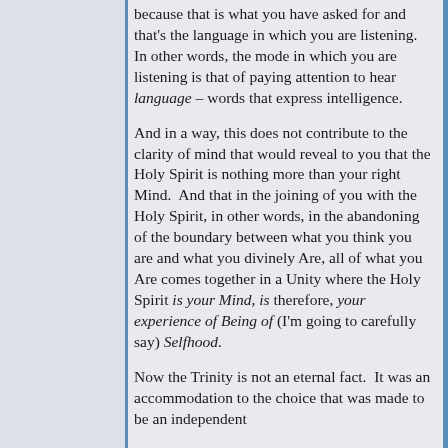because that is what you have asked for and that's the language in which you are listening.  In other words, the mode in which you are listening is that of paying attention to hear language – words that express intelligence.
And in a way, this does not contribute to the clarity of mind that would reveal to you that the Holy Spirit is nothing more than your right Mind.  And that in the joining of you with the Holy Spirit, in other words, in the abandoning of the boundary between what you think you are and what you divinely Are, all of what you Are comes together in a Unity where the Holy Spirit is your Mind, is therefore, your experience of Being of (I'm going to carefully say) Selfhood.
Now the Trinity is not an eternal fact.  It was an accommodation to the choice that was made to be an independent